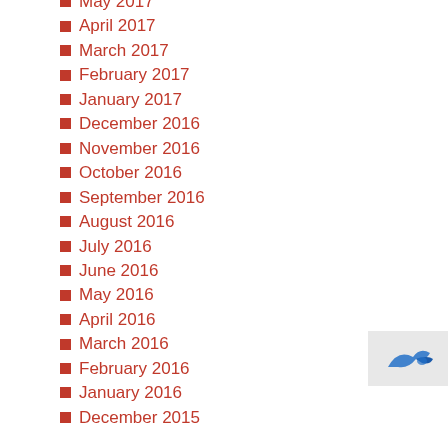May 2017
April 2017
March 2017
February 2017
January 2017
December 2016
November 2016
October 2016
September 2016
August 2016
July 2016
June 2016
May 2016
April 2016
March 2016
February 2016
January 2016
December 2015
[Figure (logo): Blue arrow/bird logo in bottom right corner]